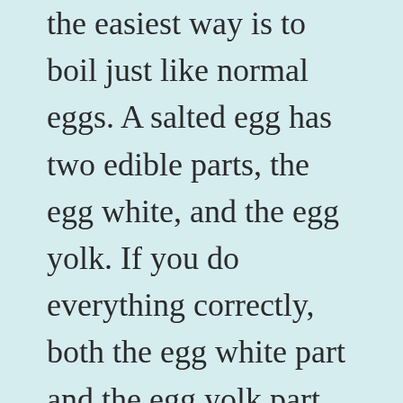the easiest way is to boil just like normal eggs. A salted egg has two edible parts, the egg white, and the egg yolk. If you do everything correctly, both the egg white part and the egg yolk part must be salty. The egg white is often saltier since a lot of salt penetrates this layer before they reach the yolk. Salted eggs are often eaten with plain porridge or white rice. The salted egg yolks are often